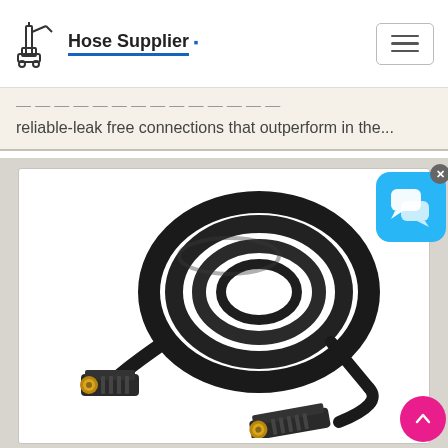Hose Supplier
reliable-leak free connections that outperform in the...
[Figure (photo): A black pressure washer extension hose coiled up, showing both metal connector ends (male and female quick-connect fittings with brass/gold colored couplings) on a white background.]